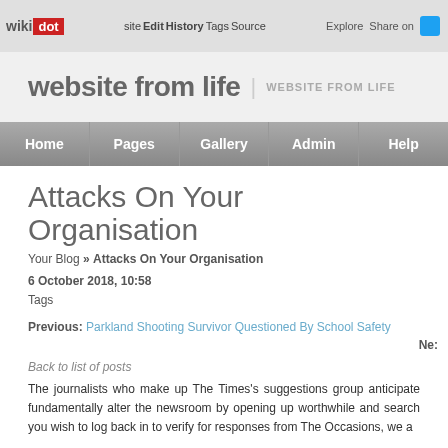wikidot | site Edit History Tags Source Explore Share on [Twitter]
website from life | WEBSITE FROM LIFE
Home | Pages | Gallery | Admin | Help
Attacks On Your Organisation
Your Blog » Attacks On Your Organisation
6 October 2018, 10:58
Tags
Previous: Parkland Shooting Survivor Questioned By School Safety
Ne:
Back to list of posts
The journalists who make up The Times's suggestions group anticipate fundamentally alter the newsroom by opening up worthwhile and search you wish to log back in to verify for responses from The Occasions, we a